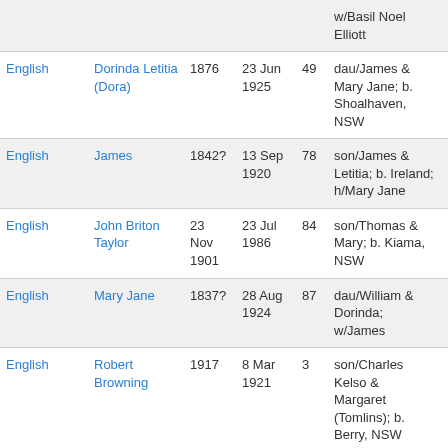| Surname | Given Name | Birth Year | Death Date | Age | Notes |  |
| --- | --- | --- | --- | --- | --- | --- |
|  |  |  |  |  | w/Basil Noel Elliott |  |
| English | Dorinda Letitia (Dora) | 1876 | 23 Jun 1925 | 49 | dau/James & Mary Jane; b. Shoalhaven, NSW |  |
| English | James | 1842? | 13 Sep 1920 | 78 | son/James & Letitia; b. Ireland; h/Mary Jane |  |
| English | John Briton Taylor | 23 Nov 1901 | 23 Jul 1986 | 84 | son/Thomas & Mary; b. Kiama, NSW |  |
| English | Mary Jane | 1837? | 28 Aug 1924 | 87 | dau/William & Dorinda; w/James |  |
| English | Robert Browning | 1917 | 8 Mar 1921 | 3 | son/Charles Kelso & Margaret (Tomlins); b. Berry, NSW |  |
| Escott | Olive Mary | 1896 | 17 Aug 1991 | 95 |  |  |